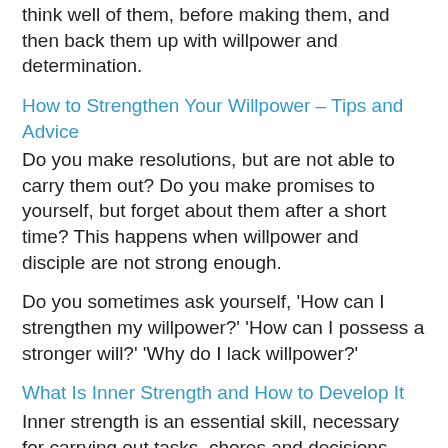think well of them, before making them, and then back them up with willpower and determination.
How to Strengthen Your Willpower – Tips and Advice
Do you make resolutions, but are not able to carry them out? Do you make promises to yourself, but forget about them after a short time? This happens when willpower and disciple are not strong enough.
Do you sometimes ask yourself, 'How can I strengthen my willpower?' 'How can I possess a stronger will?' 'Why do I lack willpower?'
What Is Inner Strength and How to Develop It
Inner strength is an essential skill, necessary for carrying out tasks, chores and decisions, and for the achievement of goals. Without it, it's difficult to start anything, and it's difficult to get to the finish line.